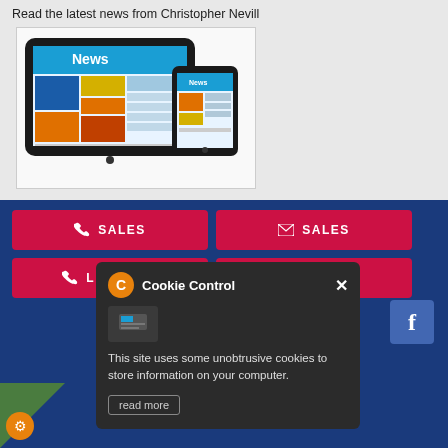Read the latest news from Christopher Nevill
[Figure (illustration): Tablet and smartphone displaying a news website with 'News' header, colorful article images and text columns]
SALES (phone button)
SALES (email button)
LETTINGS (phone button)
LETTINGS (email button)
[Figure (logo): Facebook icon button (blue square with white 'f')]
Cookie Control — This site uses some unobtrusive cookies to store information on your computer.
read more
Terms of Use | Privacy Policy & Notice
Site by The Property Jungle